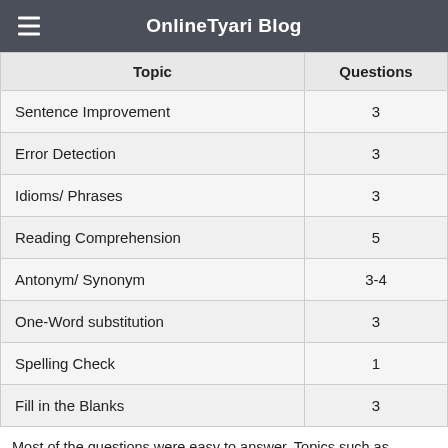OnlineTyari Blog
| Topic | Questions |
| --- | --- |
| Sentence Improvement | 3 |
| Error Detection | 3 |
| Idioms/ Phrases | 3 |
| Reading Comprehension | 5 |
| Antonym/ Synonym | 3-4 |
| One-Word substitution | 3 |
| Spelling Check | 1 |
| Fill in the Blanks | 3 |
Most of the questions were easy to answer. Topics such as